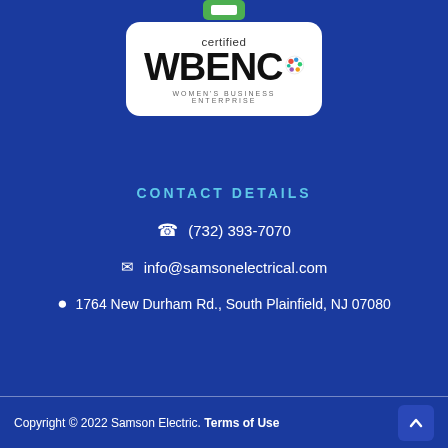[Figure (logo): Certified WBENC Women's Business Enterprise badge - white rounded rectangle with WBENC logo and colorful dots]
CONTACT DETAILS
(732) 393-7070
info@samsonelectrical.com
1764 New Durham Rd., South Plainfield, NJ 07080
Copyright © 2022 Samson Electric. Terms of Use